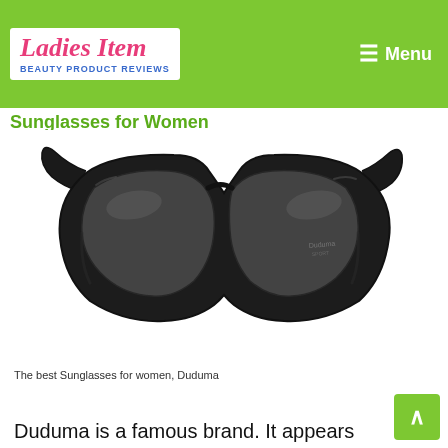Ladies Item — Beauty Product Reviews | Menu
Sunglasses for Women
[Figure (photo): Black sport-style wraparound sunglasses (Duduma brand) with dark lenses, photographed on a white background.]
The best Sunglasses for women, Duduma
Duduma is a famous brand. It appears very simp and yet solidly constructed. It is designed for both